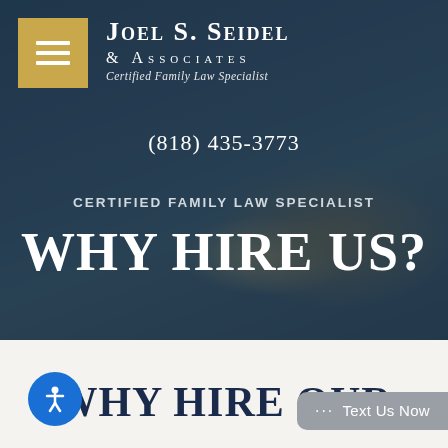[Figure (screenshot): Website header for Joel S. Seidel & Associates, Certified Family Law Specialist, with dark overlay on blurred desk/pen photo background, showing firm logo with menu button, firm name, phone number, and hero text 'WHY HIRE US?']
Joel S. Seidel & Associates
Certified Family Law Specialist
(818) 435-3773
CERTIFIED FAMILY LAW SPECIALIST
WHY HIRE US?
WHY HIRE OUR